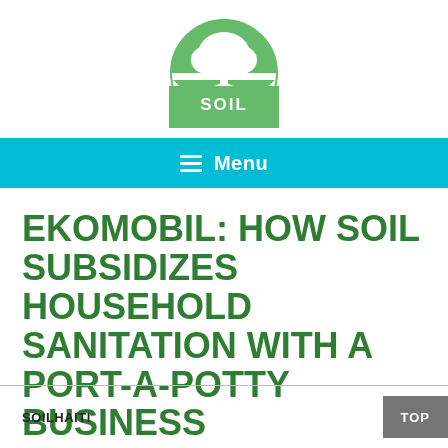[Figure (logo): SOIL organization logo: green circle with a white tree/roots illustration and the word SOIL in white text at the bottom of the circle]
Menu
EKOMOBIL: HOW SOIL SUBSIDIZES HOUSEHOLD SANITATION WITH A PORT-A-POTTY BUSINESS
SOILHAITI